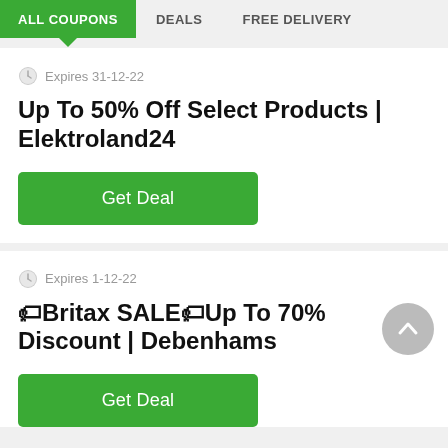ALL COUPONS | DEALS | FREE DELIVERY
Expires 31-12-22
Up To 50% Off Select Products | Elektroland24
Get Deal
Expires 1-12-22
🏷Britax SALE🏷Up To 70% Discount | Debenhams
Get Deal